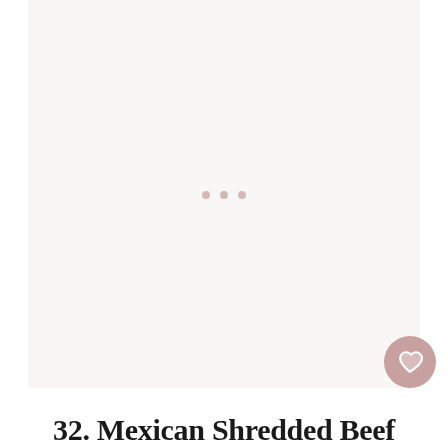[Figure (photo): Large image placeholder area with a pale pink/off-white background and three small loading dots in the center, indicating an image that has not yet loaded.]
[Figure (other): Heart (favorite) button — a circular pink/mauve button with a white heart icon inside, with a count of 269 below it, and a share button (circular white button with a share icon) below that.]
32. Mexican Shredded Beef